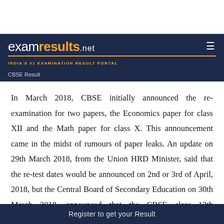[Figure (logo): examresults.net logo with tagline INDIA'S #1 EXAMINATION RESULT PORTAL on dark navy background]
CBSE Result
In March 2018, CBSE initially announced the re-examination for two papers, the Economics paper for class XII and the Math paper for class X. This announcement came in the midst of rumours of paper leaks. An update on 29th March 2018, from the Union HRD Minister, said that the re-test dates would be announced on 2nd or 3rd of April, 2018, but the Central Board of Secondary Education on 30th March 2018, announced that the CBSE class 12th Economics re-exam would take place on the
Register to get your Result